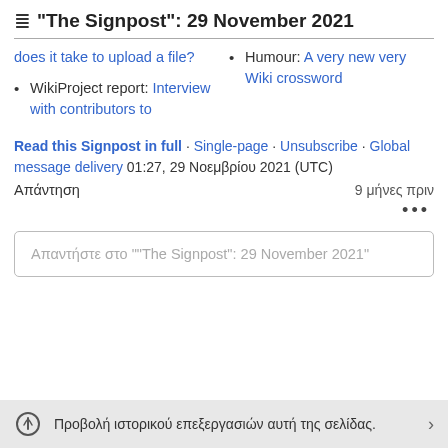"The Signpost": 29 November 2021
does it take to upload a file?
Humour: A very new very Wiki crossword
WikiProject report: Interview with contributors to
Read this Signpost in full · Single-page · Unsubscribe · Global message delivery 01:27, 29 Νοεμβρίου 2021 (UTC)
Απάντηση
9 μήνες πριν
•••
Απαντήστε στο ""The Signpost": 29 November 2021"
Προβολή ιστορικού επεξεργασιών αυτή της σελίδας.